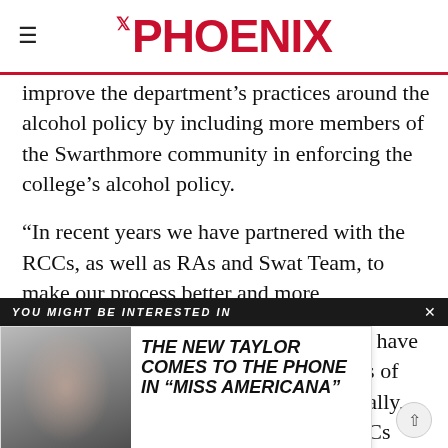THE PHOENIX
improve the department's practices around the alcohol policy by including more members of the Swarthmore community in enforcing the college's alcohol policy.
“In recent years we have partnered with the RCCs, as well as RAs and Swat Team, to make our process better and more collaborative.”
[Figure (other): You Might Be Interested In advertisement overlay featuring article 'THE NEW TAYLOR COMES TO THE PHONE IN “MISS AMERICANA”' with a black-and-white photo of Taylor Swift]
tors have cess of ifically, RCCs events in spring 2018. Rachel Head, assistant dean &